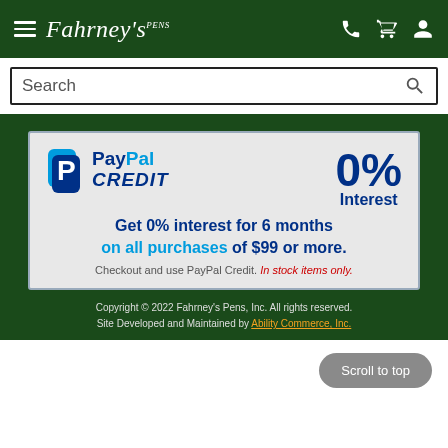Fahrney's Pens — navigation header with hamburger menu, logo, phone, cart, and account icons
Search
[Figure (infographic): PayPal Credit promotional banner: 0% Interest — Get 0% interest for 6 months on all purchases of $99 or more. Checkout and use PayPal Credit. In stock items only.]
Copyright © 2022 Fahrney's Pens, Inc. All rights reserved. Site Developed and Maintained by Ability Commerce, Inc.
Scroll to top